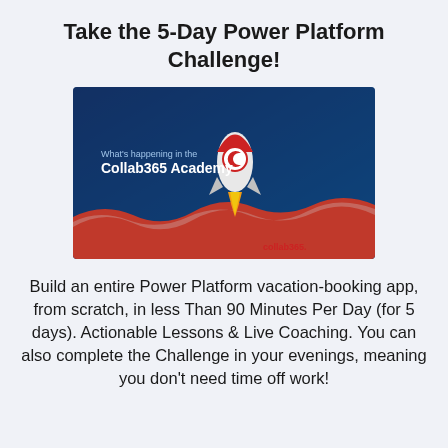Take the 5-Day Power Platform Challenge!
[Figure (illustration): Collab365 Academy promotional image with a rocket launching against a blue background, with the text 'What's happening in the Collab365 Academy' and the collab365 logo at the bottom.]
Build an entire Power Platform vacation-booking app, from scratch, in less Than 90 Minutes Per Day (for 5 days). Actionable Lessons & Live Coaching. You can also complete the Challenge in your evenings, meaning you don't need time off work!